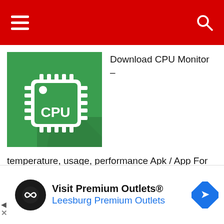Download CPU Monitor – temperature, usage, performance Apk / App For PC,Laptop,Windows 7,8,10.
[Figure (illustration): CPU Monitor app icon: green background with white CPU chip graphic and 'CPU' text]
We provide CPU Monitor – temperature, usage, performance 6.7.6 APK file for Android 4.0+ and up.
[Figure (other): Advertisement banner: Visit Premium Outlets® – Leesburg Premium Outlets, with logo and map pin arrow icon]